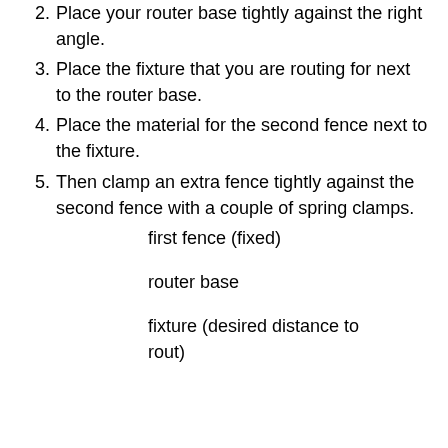2. Place your router base tightly against the right angle.
3. Place the fixture that you are routing for next to the router base.
4. Place the material for the second fence next to the fixture.
5. Then clamp an extra fence tightly against the second fence with a couple of spring clamps.
first fence (fixed)
router base
fixture (desired distance to rout)